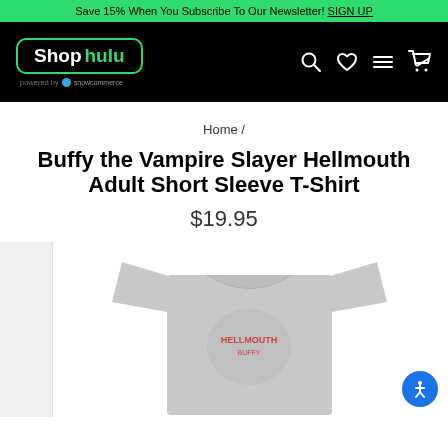Save 15% When You Subscribe To Our Newsletter! SIGN UP
[Figure (logo): Shop hulu logo in a green rounded rectangle border, with 'powered by snowcommerce' text beneath, on a black navigation bar with search, heart, menu, and cart icons]
Home /
Buffy the Vampire Slayer Hellmouth Adult Short Sleeve T-Shirt
$19.95
[Figure (photo): Gray Buffy the Vampire Slayer Hellmouth Adult Short Sleeve T-Shirt displayed on white background, with small thumbnail strip on left side]